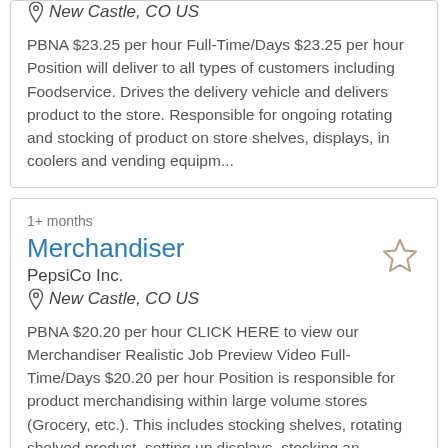New Castle, CO US
PBNA $23.25 per hour Full-Time/Days $23.25 per hour Position will deliver to all types of customers including Foodservice. Drives the delivery vehicle and delivers product to the store. Responsible for ongoing rotating and stocking of product on store shelves, displays, in coolers and vending equipm...
1+ months
Merchandiser
PepsiCo Inc.
New Castle, CO US
PBNA $20.20 per hour CLICK HERE to view our Merchandiser Realistic Job Preview Video Full-Time/Days $20.20 per hour Position is responsible for product merchandising within large volume stores (Grocery, etc.). This includes stocking shelves, rotating shelved product, setting up displays, stocking an...